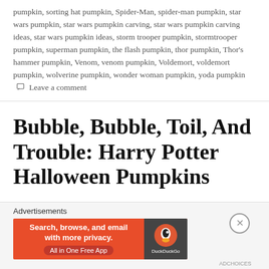pumpkin, sorting hat pumpkin, Spider-Man, spider-man pumpkin, star wars pumpkin, star wars pumpkin carving, star wars pumpkin carving ideas, star wars pumpkin ideas, storm trooper pumpkin, stormtrooper pumpkin, superman pumpkin, the flash pumpkin, thor pumpkin, Thor's hammer pumpkin, Venom, venom pumpkin, Voldemort, voldemort pumpkin, wolverine pumpkin, wonder woman pumpkin, yoda pumpkin  Leave a comment
Bubble, Bubble, Toil, And Trouble: Harry Potter Halloween Pumpkins
[Figure (photo): Dark photograph showing a dimly lit scene with orange pumpkins and what appears to be a fluorescent light in the background]
Advertisements
[Figure (screenshot): DuckDuckGo advertisement banner: 'Search, browse, and email with more privacy. All in One Free App' with DuckDuckGo logo on dark right panel]